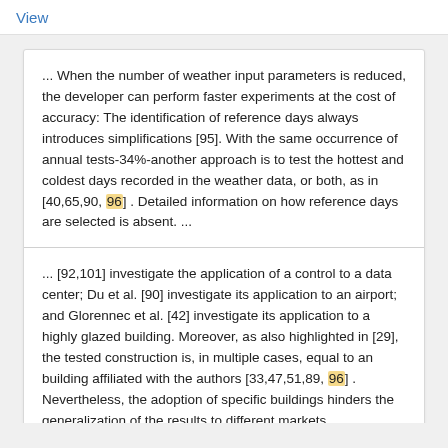View
... When the number of weather input parameters is reduced, the developer can perform faster experiments at the cost of accuracy: The identification of reference days always introduces simplifications [95]. With the same occurrence of annual tests-34%-another approach is to test the hottest and coldest days recorded in the weather data, or both, as in [40,65,90, 96] . Detailed information on how reference days are selected is absent. ...
... [92,101] investigate the application of a control to a data center; Du et al. [90] investigate its application to an airport; and Glorennec et al. [42] investigate its application to a highly glazed building. Moreover, as also highlighted in [29], the tested construction is, in multiple cases, equal to an building affiliated with the authors [33,47,51,89, 96] . Nevertheless, the adoption of specific buildings hinders the generalization of the results to different markets. ...